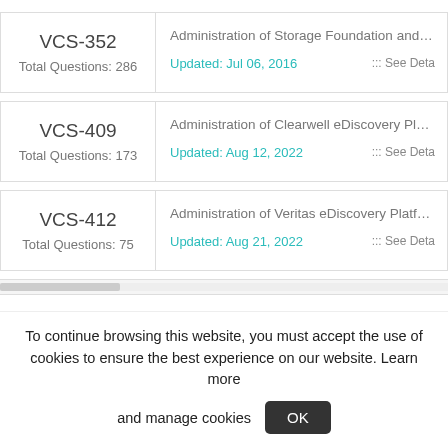| Code | Title | Updated | Action |
| --- | --- | --- | --- |
| VCS-352 | Administration of Storage Foundation and HA 6.0 for Windows | Updated: Jul 06, 2016 | ::: See Deta |
| VCS-409 | Administration of Clearwell eDiscovery Platform 7.1 | Updated: Aug 12, 2022 | ::: See Deta |
| VCS-412 | Administration of Veritas eDiscovery Platform 8.0 for U | Updated: Aug 21, 2022 | ::: See Deta |
To continue browsing this website, you must accept the use of cookies to ensure the best experience on our website. Learn more and manage cookies OK